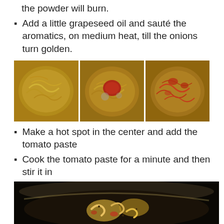the powder will burn.
Add a little grapeseed oil and sauté the aromatics, on medium heat, till the onions turn golden.
[Figure (photo): Three side-by-side photos of cooking onions in a stainless steel pan: first showing yellow sautéed onions, second with tomato paste added in the center, third showing onions mixed with tomato paste.]
Make a hot spot in the center and add the tomato paste
Cook the tomato paste for a minute and then stir it in
[Figure (photo): Photo of a stainless steel pan with shrimp, onions, and tomato paste being cooked together, viewed from above with a black background.]